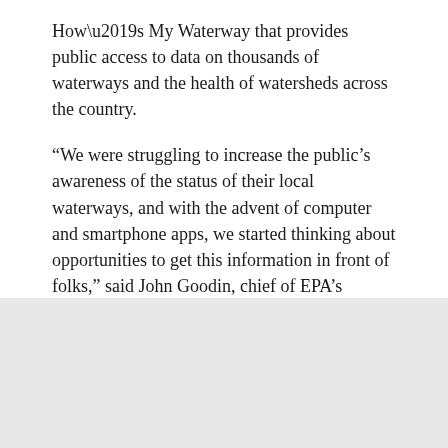How’s My Waterway that provides public access to data on thousands of waterways and the health of watersheds across the country.
“We were struggling to increase the public’s awareness of the status of their local waterways, and with the advent of computer and smartphone apps, we started thinking about opportunities to get this information in front of folks,” said John Goodin, chief of EPA’s watershed branch. “Doug grabbed hold of this concept and really was the driver behind connecting all of the right people to make this work.”